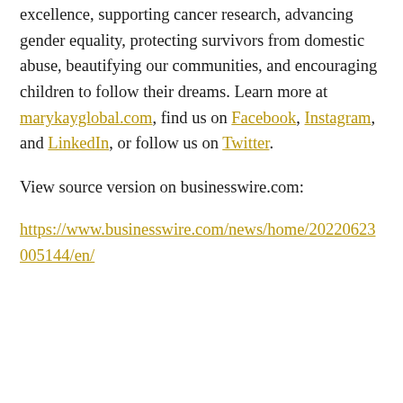excellence, supporting cancer research, advancing gender equality, protecting survivors from domestic abuse, beautifying our communities, and encouraging children to follow their dreams. Learn more at marykayglobal.com, find us on Facebook, Instagram, and LinkedIn, or follow us on Twitter.
View source version on businesswire.com: https://www.businesswire.com/news/home/20220623005144/en/